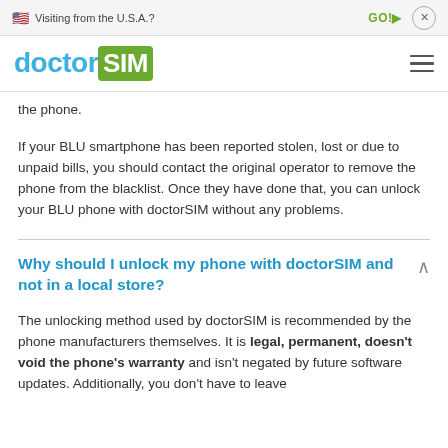🇺🇸 Visiting from the U.S.A.?  GO!>  ×
[Figure (logo): doctorSIM logo — 'doctor' in blue, 'SIM' in white on green rounded rectangle background]
the phone.
If your BLU smartphone has been reported stolen, lost or due to unpaid bills, you should contact the original operator to remove the phone from the blacklist. Once they have done that, you can unlock your BLU phone with doctorSIM without any problems.
Why should I unlock my phone with doctorSIM and not in a local store?
The unlocking method used by doctorSIM is recommended by the phone manufacturers themselves. It is legal, permanent, doesn't void the phone's warranty and isn't negated by future software updates. Additionally, you don't have to leave